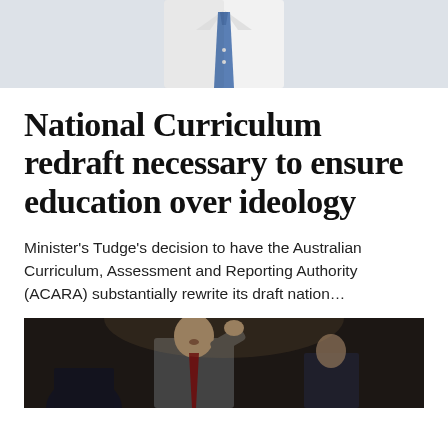[Figure (photo): Cropped photo showing the torso and tie of a person in a white shirt with a blue tie, likely a politician or official]
National Curriculum redraft necessary to ensure education over ideology
Minister's Tudge's decision to have the Australian Curriculum, Assessment and Reporting Authority (ACARA) substantially rewrite its draft nation...
[Figure (photo): Photo of a man in a suit speaking or gesturing, appears to be in a parliamentary or formal setting with other people visible in the background]